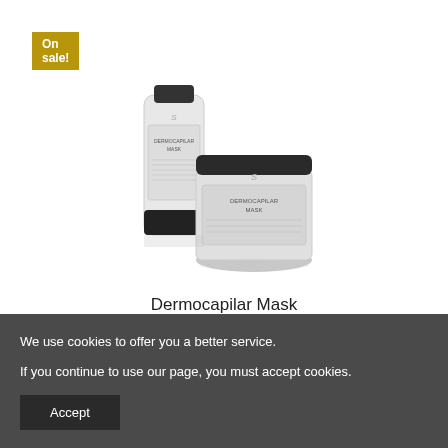On sale!
[Figure (photo): Product photo of Dermocapilar Mask — a white squeeze tube and a white jar with black lids]
Dermocapilar Mask
€19.45
View
We use cookies to offer you a better service.

If you continue to use our page, you must accept cookies.
Accept